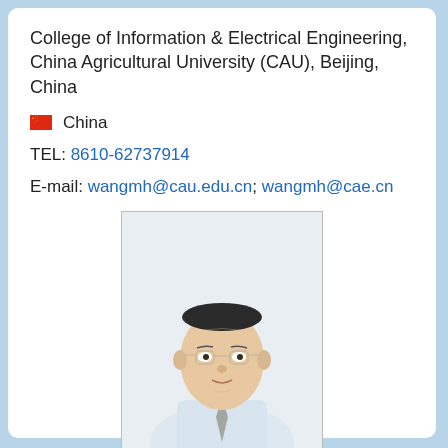College of Information & Electrical Engineering, China Agricultural University (CAU), Beijing, China
🇨🇳 China
TEL: 8610-62737914
E-mail: wangmh@cau.edu.cn; wangmh@cae.cn
[Figure (photo): Portrait photo of an elderly Chinese man wearing glasses and a light blue shirt with a grey tie, formal headshot style against white background]